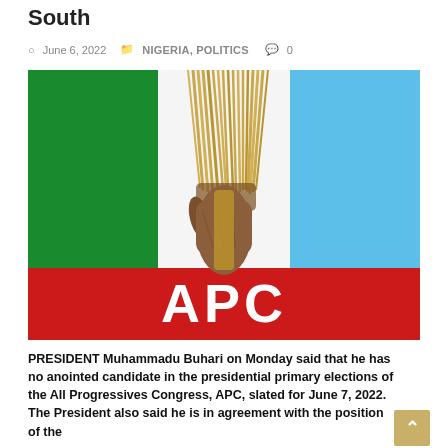South
June 6, 2022   NIGERIA, POLITICS   0
[Figure (photo): APC (All Progressives Congress) party logo showing green, white, and light blue sections with a hand holding a broom in the center, and a red banner at the bottom reading 'APC']
PRESIDENT Muhammadu Buhari on Monday said that he has no anointed candidate in the presidential primary elections of the All Progressives Congress, APC, slated for June 7, 2022. The President also said he is in agreement with the position of the APC on the government that power should be shifted to the South